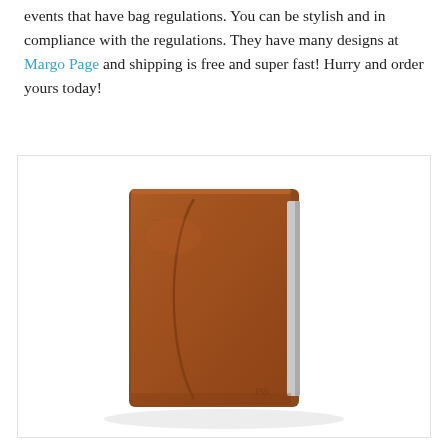events that have bag regulations. You can be stylish and in compliance with the regulations. They have many designs at Margo Page and shipping is free and super fast! Hurry and order yours today!
[Figure (photo): A brown leather portfolio/padfolio with monogram initials, shown open slightly to reveal a notepad inside, photographed on a white background.]